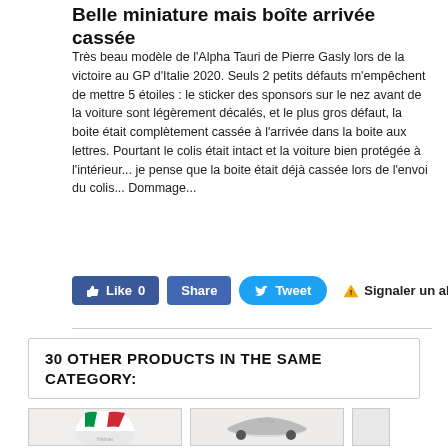Belle miniature mais boîte arrivée cassée
Très beau modèle de l'Alpha Tauri de Pierre Gasly lors de la victoire au GP d'Italie 2020. Seuls 2 petits défauts m'empêchent de mettre 5 étoiles : le sticker des sponsors sur le nez avant de la voiture sont légèrement décalés, et le plus gros défaut, la boite était complètement cassée à l'arrivée dans la boite aux lettres. Pourtant le colis était intact et la voiture bien protégée à l'intérieur... je pense que la boite était déjà cassée lors de l'envoi du colis... Dommage...
[Figure (screenshot): Social sharing buttons: Like 0 (blue Facebook), Share (blue), Tweet (Twitter blue), and Signaler un abus (warning icon)]
30 OTHER PRODUCTS IN THE SAME CATEGORY:
[Figure (photo): Product thumbnail: racing helmet with Italian flag colors (red, white, green)]
[Figure (photo): Product thumbnail: Formula 1 car model]